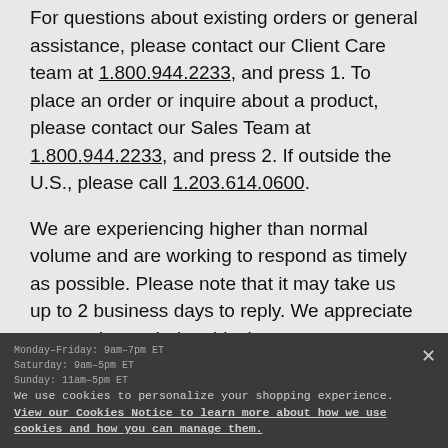For questions about existing orders or general assistance, please contact our Client Care team at 1.800.944.2233, and press 1. To place an order or inquire about a product, please contact our Sales Team at 1.800.944.2233, and press 2. If outside the U.S., please call 1.203.614.0600.
We are experiencing higher than normal volume and are working to respond as timely as possible. Please note that it may take us up to 2 business days to reply. We appreciate your patience during this time.
Your order may take longer to reach you than expected due to potential shipping delays. We are working hard to ship your order and apologize for any delay and for the inconvenience this may cause. Track my order.
Monday–Friday: 9am–7pm ET
Saturday: 9am–5pm ET
Sunday: 11am–5pm ET
We use cookies to personalize your shopping experience. View our Cookies Notice to learn more about how we use cookies and how you can manage them.